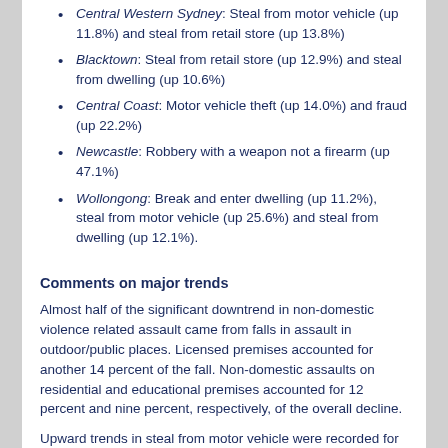Central Western Sydney: Steal from motor vehicle (up 11.8%) and steal from retail store (up 13.8%)
Blacktown: Steal from retail store (up 12.9%) and steal from dwelling (up 10.6%)
Central Coast: Motor vehicle theft (up 14.0%) and fraud (up 22.2%)
Newcastle: Robbery with a weapon not a firearm (up 47.1%)
Wollongong: Break and enter dwelling (up 11.2%), steal from motor vehicle (up 25.6%) and steal from dwelling (up 12.1%).
Comments on major trends
Almost half of the significant downtrend in non-domestic violence related assault came from falls in assault in outdoor/public places. Licensed premises accounted for another 14 percent of the fall. Non-domestic assaults on residential and educational premises accounted for 12 percent and nine percent, respectively, of the overall decline.
Upward trends in steal from motor vehicle were recorded for two SDs, five metropolitan SSDs and 16 LGAs. The growth in